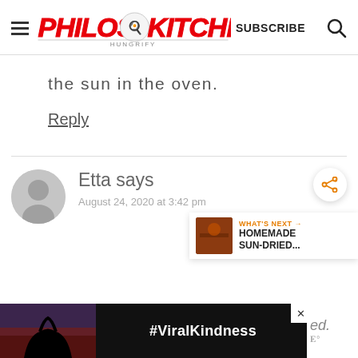[Figure (logo): Philos Kitchen website header with hamburger menu, logo, SUBSCRIBE text, and search icon]
the sun in the oven.
Reply
Etta says
August 24, 2020 at 3:42 pm
[Figure (infographic): WHAT'S NEXT widget showing HOMEMADE SUN-DRIED... with food thumbnail]
[Figure (photo): Ad banner showing hands making heart shape at sunset with #ViralKindness text]